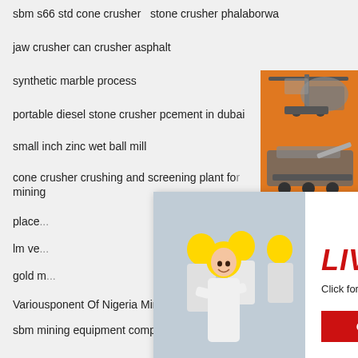sbm s66 std cone crusher   stone crusher phalaborwa
jaw crusher can crusher asphalt
synthetic marble process
portable diesel stone crusher pcement in dubai
small inch zinc wet ball mill
cone crusher crushing and screening plant for mining
place...
lm ve...
gold m...
Variousponent Of Nigeria Mining
sbm mining equipment company
Cs Cone Crusher Ls Sand Washing Machine Mobile Crushing Plant
minerai resources of ondo state
used dolomite crusher for hire indonessia
high pressure suspension milling pulverizer
[Figure (screenshot): Live chat popup overlay with a smiling woman in a hard hat, red 'LIVE CHAT' text, 'Click for a Free Consultation', 'Chat now' and 'Chat later' buttons]
[Figure (screenshot): Right sidebar with orange background showing mining machinery images, 'Enjoy 3% discount / Click to Chat' banner in yellow/orange, and Enquiry section with email limingjlmofen@sina.com]